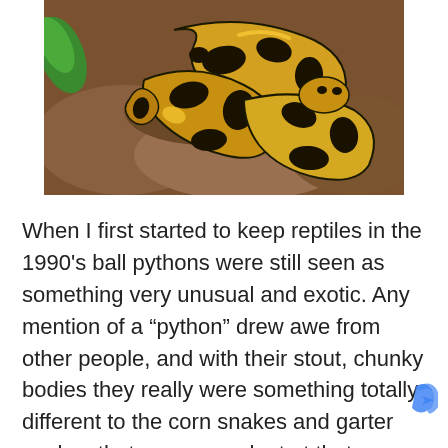[Figure (photo): Close-up photo of a ball python snake with yellow and black patterned scales coiled on rocky substrate with some green leaf visible]
When I first started to keep reptiles in the 1990's ball pythons were still seen as something very unusual and exotic. Any mention of a “python” drew awe from other people, and with their stout, chunky bodies they really were something totally different to the corn snakes and garter snakes that were prevalent at that ...